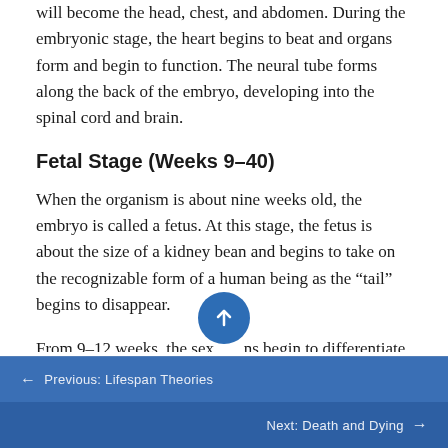will become the head, chest, and abdomen. During the embryonic stage, the heart begins to beat and organs form and begin to function. The neural tube forms along the back of the embryo, developing into the spinal cord and brain.
Fetal Stage (Weeks 9–40)
When the organism is about nine weeks old, the embryo is called a fetus. At this stage, the fetus is about the size of a kidney bean and begins to take on the recognizable form of a human being as the “tail” begins to disappear.
From 9–12 weeks, the sex organs begin to differentiate.
← Previous: Lifespan Theories
Next: Death and Dying →